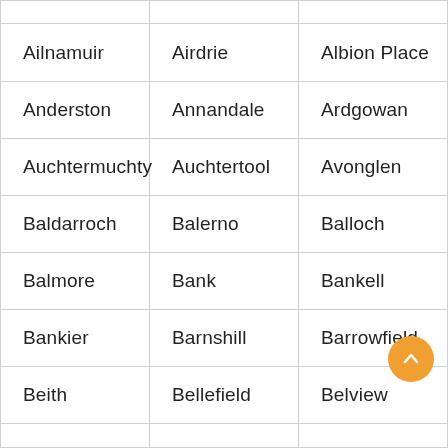|  |  |  |
| Ailnamuir | Airdrie | Albion Place |
| Anderston | Annandale | Ardgowan |
| Auchtermuchty | Auchtertool | Avonglen |
| Baldarroch | Balerno | Balloch |
| Balmore | Bank | Bankell |
| Bankier | Barnshill | Barrowfield |
| Beith | Bellefield | Belview |
|  |  |  |